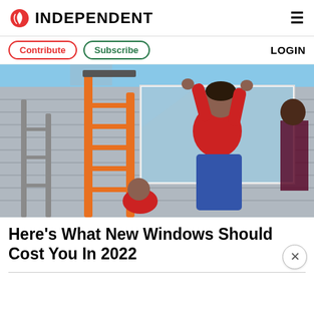INDEPENDENT
Contribute  Subscribe  LOGIN
[Figure (photo): Workers installing a window on a house exterior. One person in a red shirt and jeans is lifting a window frame up the side of a grey clapboard house. An orange ladder is visible. Another person is crouching below. Clear blue sky in background.]
Here's What New Windows Should Cost You In 2022